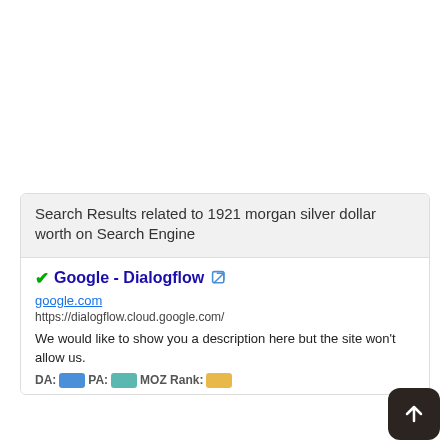Search Results related to 1921 morgan silver dollar worth on Search Engine
✔Google - Dialogflow
google.com
https://dialogflow.cloud.google.com/
We would like to show you a description here but the site won't allow us.
DA: PA: MOZ Rank: